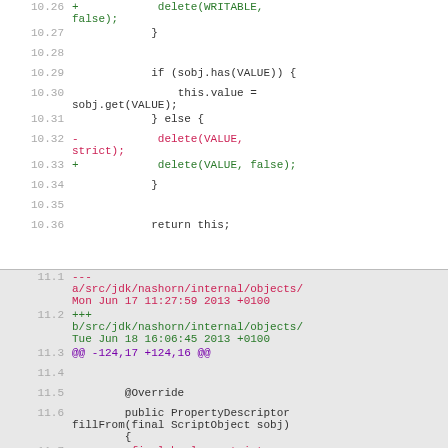Code diff showing file changes in a Java source file (nashorn internal objects). Lines 10.26-10.36 and 11.1-11.8 showing additions and removals in a unified diff format.